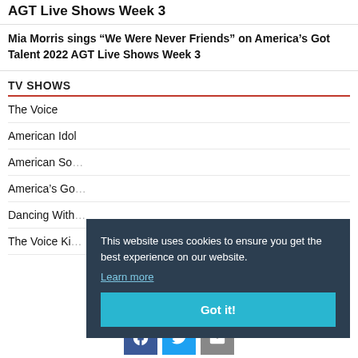AGT Live Shows Week 3
Mia Morris sings “We Were Never Friends” on America’s Got Talent 2022 AGT Live Shows Week 3
TV SHOWS
The Voice
American Idol
American So...
America’s Go...
Dancing With...
The Voice Ki...
This website uses cookies to ensure you get the best experience on our website.
Learn more
Got it!